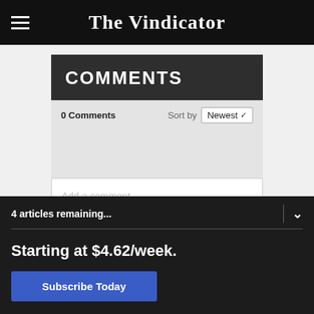The Vindicator
COMMENTS
0 Comments  Sort by  Newest
Add a comment...
4 articles remaining...
Starting at $4.62/week.
Subscribe Today